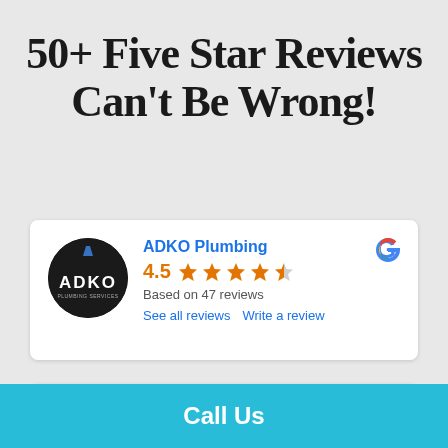50+ Five Star Reviews Can't Be Wrong!
[Figure (screenshot): Google review widget showing ADKO Plumbing with 4.5 stars based on 47 reviews, with links to see all reviews and write a review. Google 'G' logo in top right.]
[Figure (screenshot): Partial Google review widget for another business, partially cut off at bottom of page.]
Call Us